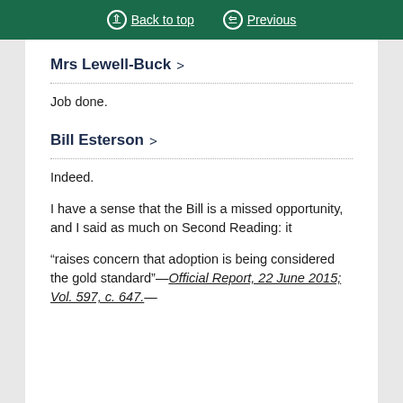Back to top | Previous
Mrs Lewell-Buck >
Job done.
Bill Esterson >
Indeed.
I have a sense that the Bill is a missed opportunity, and I said as much on Second Reading: it
“raises concern that adoption is being considered the gold standard”—[Official Report, 22 June 2015; Vol. 597, c. 647.]—